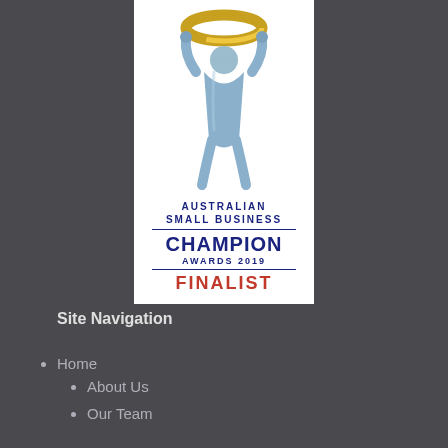[Figure (logo): Australian Small Business Champion Awards 2019 Finalist badge with silver trophy figure holding gold ring, white background, blue and red text]
Site Navigation
Home
About Us
Our Team